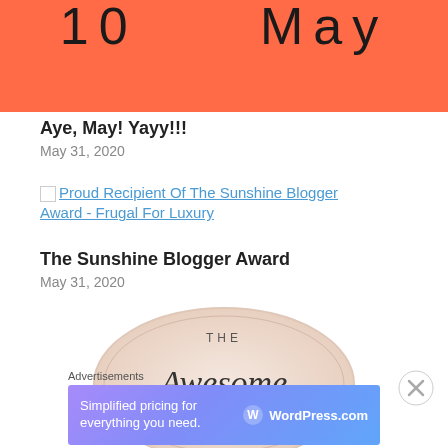[Figure (other): Coral/salmon colored banner with large text '10   May' in dark letters]
Aye, May! Yayy!!!
May 31, 2020
[Figure (other): Broken image placeholder followed by link text 'Proud Recipient Of The Sunshine Blogger Award - Frugal For Luxury']
The Sunshine Blogger Award
May 31, 2020
[Figure (illustration): Circular badge/logo with script text reading 'The Awesome Blogger' on a light background]
Advertisements
[Figure (screenshot): WordPress.com advertisement banner with gradient purple-blue background, text 'Simplified pricing for everything you need.' and WordPress.com logo]